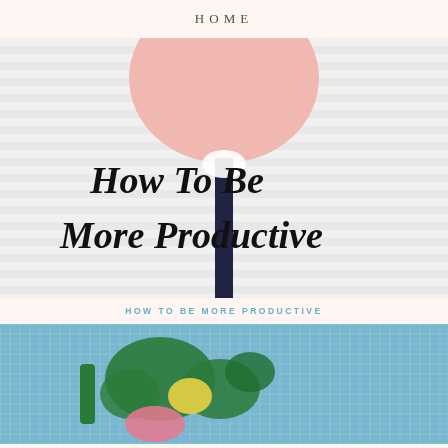HOME
[Figure (photo): Photo of a pink circular sign on a stick with handwritten cursive text reading 'How To Be More Productive', held against a white striped background]
HOW TO BE MORE PRODUCTIVE
[Figure (photo): Close-up of a needlepoint or cross-stitch craft piece showing a blue background with green, yellow, and pink floral/bird motif]